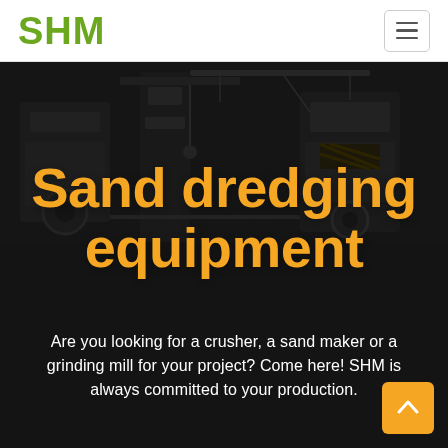SHM
[Figure (photo): Dark industrial background photo showing heavy mining/crushing machinery equipment, rendered in grayscale/dark tones.]
Sand dredging equipment
Are you looking for a crusher, a sand maker or a grinding mill for your project? Come here! SHM is always committed to your production.